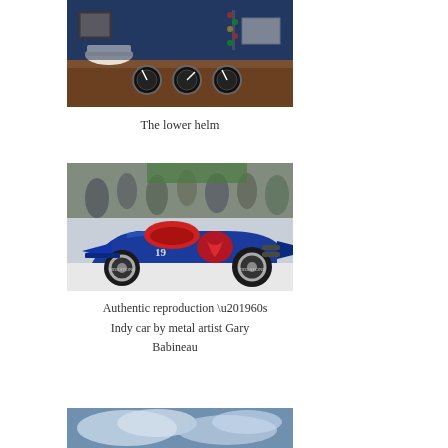[Figure (photo): Interior photo of a boat lower helm with dashboard gauges, a white cap, Christmas tree lights, and nautical instruments]
The lower helm
[Figure (photo): Authentic reproduction 1960s Indy car, metallic blue, by metal artist Gary Babineau, displayed on a white floor with crowd in background]
Authentic reproduction ’60s Indy car by metal artist Gary Babineau
[Figure (photo): Sky with clouds, partial view at bottom of page]